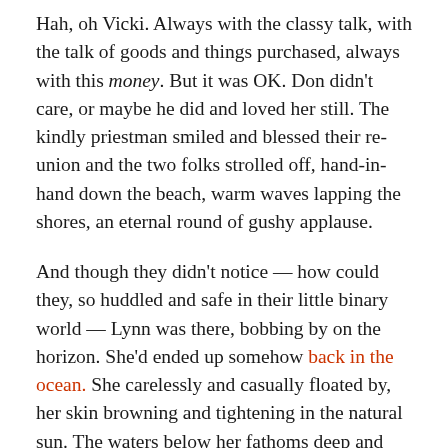Hah, oh Vicki. Always with the classy talk, with the talk of goods and things purchased, always with this money. But it was OK. Don didn't care, or maybe he did and loved her still. The kindly priestman smiled and blessed their re-union and the two folks strolled off, hand-in-hand down the beach, warm waves lapping the shores, an eternal round of gushy applause.
And though they didn't notice — how could they, so huddled and safe in their little binary world — Lynn was there, bobbing by on the horizon. She'd ended up somehow back in the ocean. She carelessly and casually floated by, her skin browning and tightening in the natural sun. The waters below her fathoms deep and mysterious.